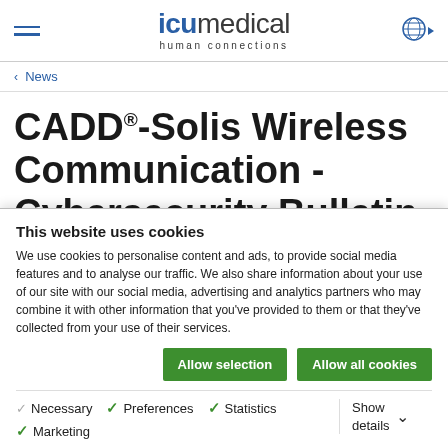ICU Medical - human connections
< News
CADD®-Solis Wireless Communication - Cybersecurity Bulletin
This website uses cookies
We use cookies to personalise content and ads, to provide social media features and to analyse our traffic. We also share information about your use of our site with our social media, advertising and analytics partners who may combine it with other information that you've provided to them or that they've collected from your use of their services.
Allow selection | Allow all cookies
Necessary | Preferences | Statistics | Marketing | Show details